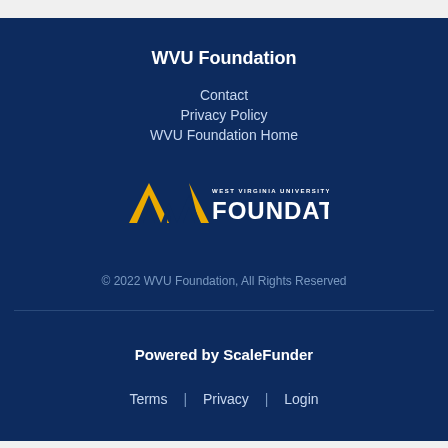WVU Foundation
Contact
Privacy Policy
WVU Foundation Home
[Figure (logo): WVU Foundation logo with golden flying WV and WEST VIRGINIA UNIVERSITY FOUNDATION text]
© 2022 WVU Foundation, All Rights Reserved
Powered by ScaleFunder
Terms | Privacy | Login